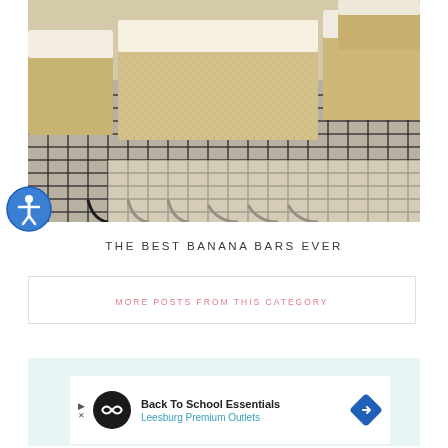[Figure (photo): Banana bars with white frosting arranged on a black wire cooling rack, viewed close-up from a slight angle showing the dense cake texture]
[Figure (other): Blue circle accessibility icon button with a person symbol in white]
THE BEST BANANA BARS EVER
MORE POSTS FROM THIS CATEGORY
[Figure (other): Advertisement: Back To School Essentials - Leesburg Premium Outlets]